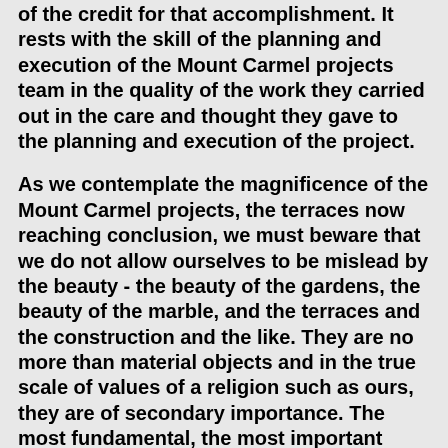of the credit for that accomplishment. It rests with the skill of the planning and execution of the Mount Carmel projects team in the quality of the work they carried out in the care and thought they gave to the planning and execution of the project.
As we contemplate the magnificence of the Mount Carmel projects, the terraces now reaching conclusion, we must beware that we do not allow ourselves to be mislead by the beauty - the beauty of the gardens, the beauty of the marble, and the terraces and the construction and the like. They are no more than material objects and in the true scale of values of a religion such as ours, they are of secondary importance. The most fundamental, the most important thing about the Mount Carmel projects is not the magnificence of buildings or the beauty of gardens, it is that the prophecies of Isaiah have been fulfilled. That in the book of Isaiah where it was written that in these latter days the House of the Lord would be built on the mountain of God, that this has now been